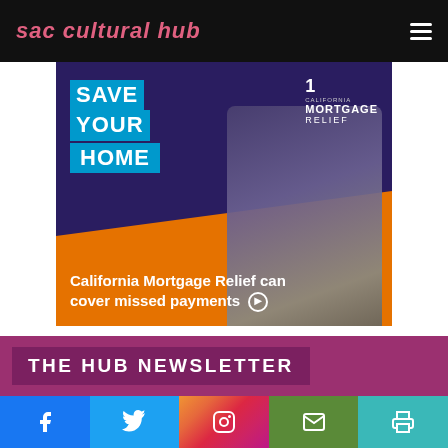sac cultural hub
[Figure (illustration): California Mortgage Relief advertisement banner. Dark blue/purple background with a man's photo. Text reads SAVE YOUR HOME in blue boxes, California Mortgage 1 logo top right, orange diagonal band at bottom with text: California Mortgage Relief can cover missed payments]
THE HUB NEWSLETTER
[Figure (infographic): Social media bar with Facebook, Twitter, Instagram, Email, and Print icons]